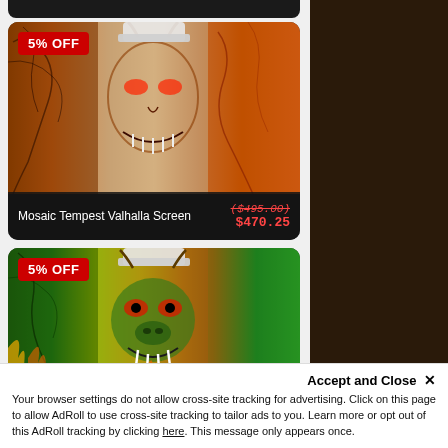[Figure (photo): Product card with 5% OFF badge showing Mosaic Tempest Valhalla Screen with dragon artwork in reddish-brown tones, original price ($495.00), sale price $470.25]
[Figure (photo): Product card with 5% OFF badge showing Mosaic Tempest Valhalla Screen with dragon/fire artwork in green and flame tones, original price ($465.00), sale price $441.75]
Accept and Close ✕
Your browser settings do not allow cross-site tracking for advertising. Click on this page to allow AdRoll to use cross-site tracking to tailor ads to you. Learn more or opt out of this AdRoll tracking by clicking here. This message only appears once.